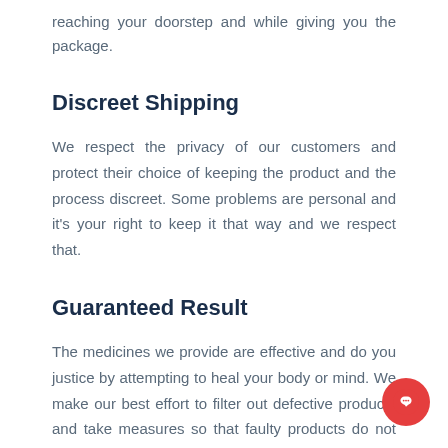reaching your doorstep and while giving you the package.
Discreet Shipping
We respect the privacy of our customers and protect their choice of keeping the product and the process discreet. Some problems are personal and it's your right to keep it that way and we respect that.
Guaranteed Result
The medicines we provide are effective and do you justice by attempting to heal your body or mind. We make our best effort to filter out defective products and take measures so that faulty products do not reach your doorstep and cause you any harm.